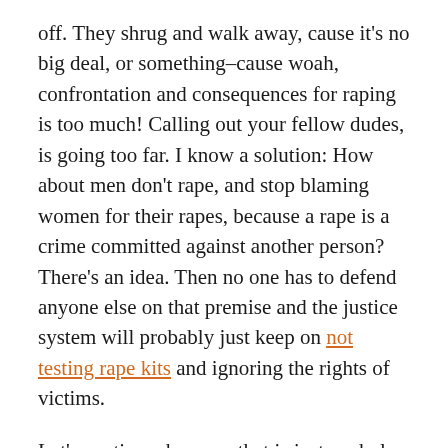off. They shrug and walk away, cause it's no big deal, or something–cause woah, confrontation and consequences for raping is too much! Calling out your fellow dudes, is going too far. I know a solution: How about men don't rape, and stop blaming women for their rapes, because a rape is a crime committed against another person? There's an idea. Then no one has to defend anyone else on that premise and the justice system will probably just keep on not testing rape kits and ignoring the rights of victims.
Let's continue, because that is just a whole book of discussion to be had...